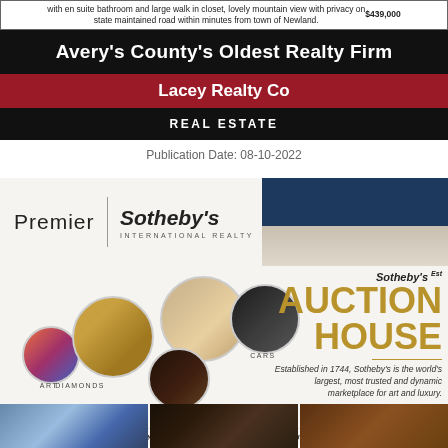with en suite bathroom and large walk in closet, lovely mountain view with privacy on state maintained road within minutes from town of Newland. $439,000
Avery's County's Oldest Realty Firm
Lacey Realty Co
REAL ESTATE
Publication Date: 08-10-2022
[Figure (logo): Premier Sotheby's International Realty logo with navy and cream background on right]
[Figure (infographic): Sotheby's Auction House advertisement with gold figurine, circular images of art, diamonds, wine, cars; text: Established in 1744, Sotheby's is the world's largest, most trusted and dynamic marketplace for art and luxury.]
THE CHOICE WHEN SELLING PRECIOUS ASSETS—INCLUDING YOUR HOME
[Figure (photo): Three property photos at bottom: mountain/sky scene, dark lodge exterior, wood interior detail]